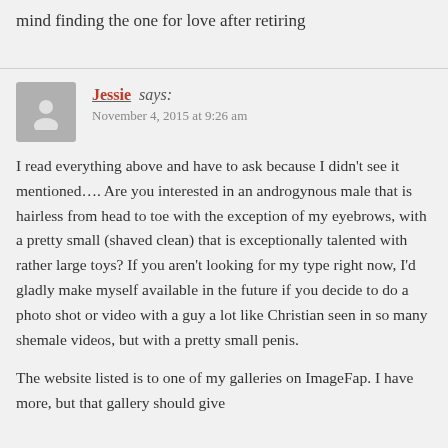mind finding the one for love after retiring
Jessie says:
November 4, 2015 at 9:26 am
I read everything above and have to ask because I didn't see it mentioned…. Are you interested in an androgynous male that is hairless from head to toe with the exception of my eyebrows, with a pretty small (shaved clean) that is exceptionally talented with rather large toys? If you aren't looking for my type right now, I'd gladly make myself available in the future if you decide to do a photo shot or video with a guy a lot like Christian seen in so many shemale videos, but with a pretty small penis.
The website listed is to one of my galleries on ImageFap. I have more, but that gallery should give